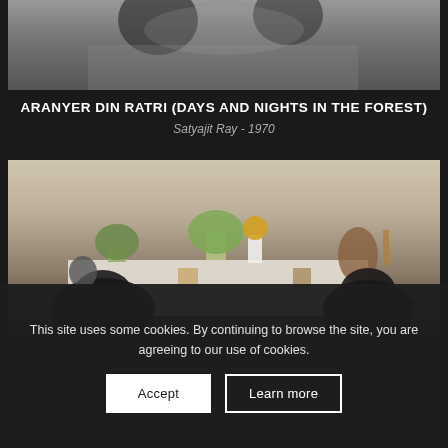[Figure (photo): Black and white film still showing people in an indoor scene]
ARANYER DIN RATRI (DAYS AND NIGHTS IN THE FOREST)
Satyajit Ray - 1970
[Figure (photo): Color film still showing two people with dark hair seated at a table, with potted plants and shelving in the background]
This site uses some cookies. By continuing to browse the site, you are agreeing to our use of cookies.